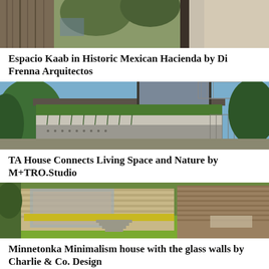[Figure (photo): Partial view of a building exterior with wood and concrete elements, trees visible]
Espacio Kaab in Historic Mexican Hacienda by Di Frenna Arquitectos
[Figure (photo): Modern house with green rooftop garden, metal fence, lush vegetation in front, blue sky]
TA House Connects Living Space and Nature by M+TRO.Studio
[Figure (photo): Mid-century modern house with glass walls surrounded by manicured lawn and yellow hedges, wooden exterior]
Minnetonka Minimalism house with the glass walls by Charlie & Co. Design
[Figure (photo): Bottom partial view of another architecture project, trees in background]